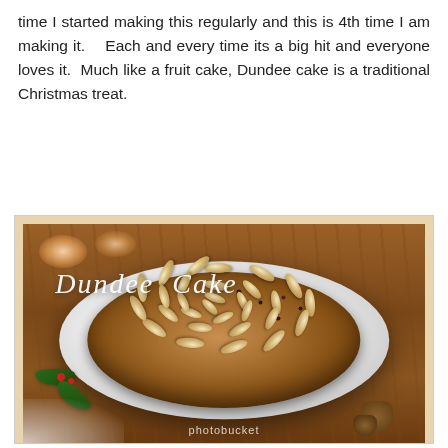time I started making this regularly and this is 4th time I am making it.    Each and every time its a big hit and everyone loves it.  Much like a fruit cake, Dundee cake is a traditional Christmas treat.
[Figure (photo): Photograph of a Dundee cake — a traditional Scottish fruit cake topped with concentric circles of whole blanched almonds, sitting on a white plate. A slice has been cut out revealing the dark fruit-studded interior. The cake is placed on a wooden surface with holly leaves, pine cones, and lit candles visible around it. The text 'Dundee Cake' is overlaid in white italic script. A Photobucket watermark is visible at the bottom.]